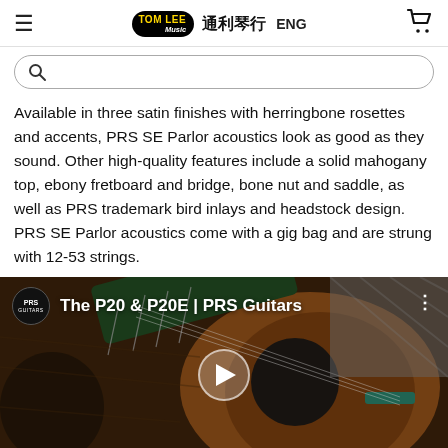Tom Lee Music 通利琴行 ENG
Available in three satin finishes with herringbone rosettes and accents, PRS SE Parlor acoustics look as good as they sound. Other high-quality features include a solid mahogany top, ebony fretboard and bridge, bone nut and saddle, as well as PRS trademark bird inlays and headstock design. PRS SE Parlor acoustics come with a gig bag and are strung with 12-53 strings.
[Figure (screenshot): YouTube video thumbnail for 'The P20 & P20E | PRS Guitars' showing an acoustic guitar on a wooden surface, with a play button in the center and the PRS Guitars logo in the top left corner.]